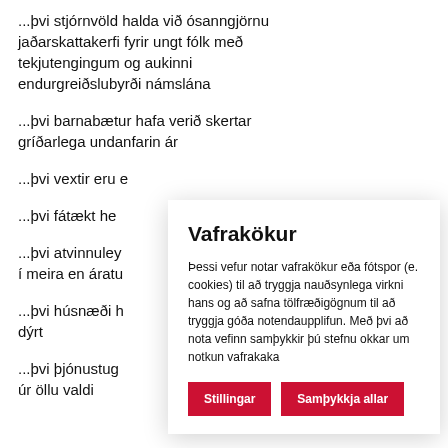...þvi stjórnvöld halda við ósanngjörnu jaðarskattakerfi fyrir ungt fólk með tekjutengingum og aukinni endurgreiðslubyrði námslána
...þvi barnabætur hafa verið skertar gríðarlega undanfarin ár
...þvi vextir eru o
...þvi fátækt he
...þvi atvinnuley í meira en áratu
...þvi húsnæði h dýrt
...þvi þjónustug úr öllu valdi
Vafrakökur
Þessi vefur notar vafrakökur eða fótspor (e. cookies) til að tryggja nauðsynlega virkni hans og að safna tölfræðigögnum til að tryggja góða notendaupplifun. Með þvi að nota vefinn samþykkir þú stefnu okkar um notkun vafrakaka
Stillingar
Samþykkja allar